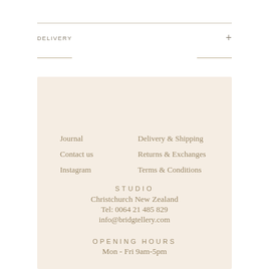DELIVERY
Journal
Contact us
Instagram
Delivery & Shipping
Returns & Exchanges
Terms & Conditions
STUDIO
Christchurch New Zealand
Tel: 0064 21 485 829
info@bridgtellery.com
OPENING HOURS
Mon - Fri 9am-5pm